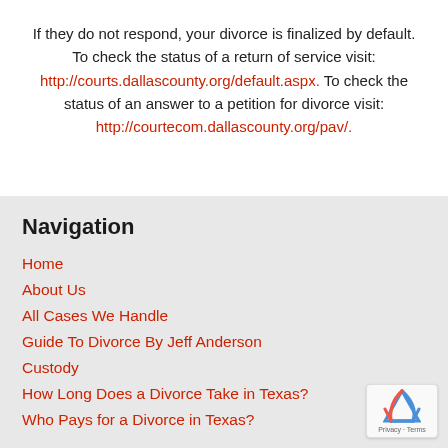If they do not respond, your divorce is finalized by default. To check the status of a return of service visit: http://courts.dallascounty.org/default.aspx. To check the status of an answer to a petition for divorce visit: http://courtecom.dallascounty.org/pav/.
Navigation
Home
About Us
All Cases We Handle
Guide To Divorce By Jeff Anderson
Custody
How Long Does a Divorce Take in Texas?
Who Pays for a Divorce in Texas?